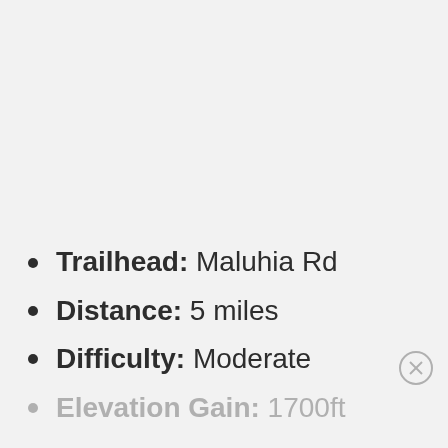Trailhead: Maluhia Rd
Distance: 5 miles
Difficulty: Moderate
Elevation Gain: 1700ft